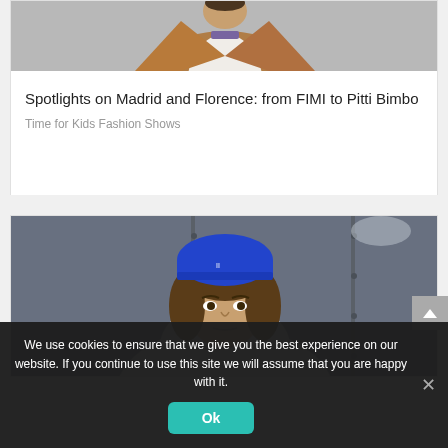[Figure (photo): Top portion of a fashion photo showing a person wearing a tan/brown jacket over a white t-shirt, cropped at chest level, gray background]
Spotlights on Madrid and Florence: from FIMI to Pitti Bimbo
Time for Kids Fashion Shows
[Figure (photo): Fashion photo of a teenage boy wearing a bright blue beanie hat and a light gray hoodie, standing in front of a dark industrial background]
We use cookies to ensure that we give you the best experience on our website. If you continue to use this site we will assume that you are happy with it.